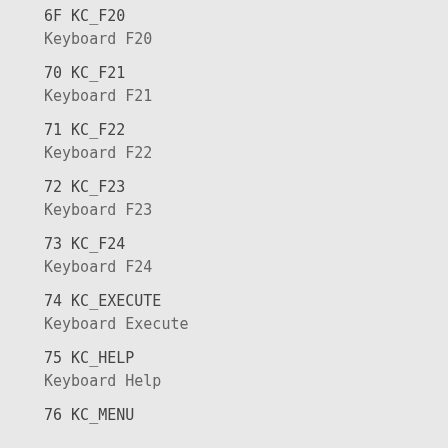6F   KC_F20
Keyboard F20
70   KC_F21
Keyboard F21
71   KC_F22
Keyboard F22
72   KC_F23
Keyboard F23
73   KC_F24
Keyboard F24
74   KC_EXECUTE
Keyboard Execute
75   KC_HELP
Keyboard Help
76   KC_MENU